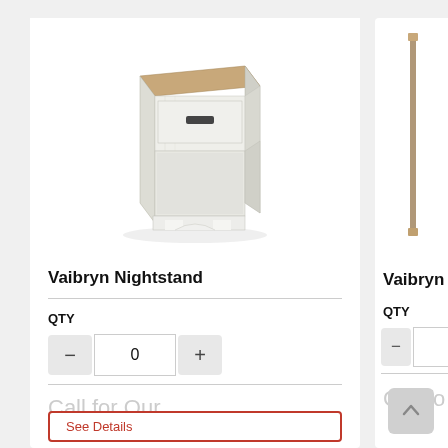[Figure (photo): Vaibryn Nightstand product photo - white painted nightstand with brown wood top, one drawer with dark handle, and open shelf below on a white background]
Vaibryn Nightstand
QTY
0
Call for Our
See Details
[Figure (photo): Partial view of another Vaibryn product - appears to show a tall thin leg or post element]
Vaibryn
QTY
Call fo